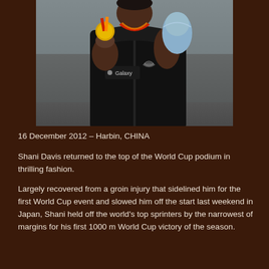[Figure (photo): A man wearing a black zip-up hoodie with 'Galaxy' logo on the chest and an Under Armour logo, holding up a gold medal with a red and yellow ribbon around his neck and a wrapped light blue gift/bouquet in his other hand. The photo is taken in what appears to be an indoor arena setting.]
16 December 2012 – Harbin, CHINA
Shani Davis returned to the top of the World Cup podium in thrilling fashion.
Largely recovered from a groin injury that sidelined him for the first World Cup event and slowed him off the start last weekend in Japan, Shani held off the world's top sprinters by the narrowest of margins for his first 1000 m World Cup victory of the season.